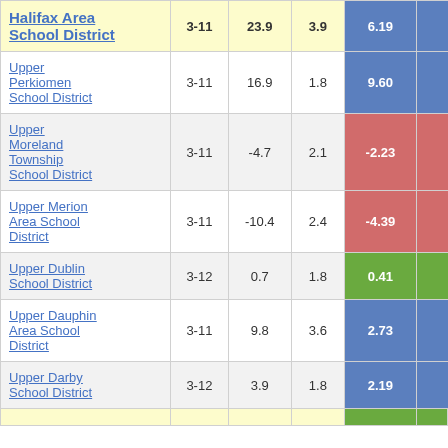| District | Grades | Col3 | Col4 | Score |  |
| --- | --- | --- | --- | --- | --- |
| Halifax Area School District | 3-11 | 23.9 | 3.9 | 6.19 |  |
| Upper Perkiomen School District | 3-11 | 16.9 | 1.8 | 9.60 |  |
| Upper Moreland Township School District | 3-11 | -4.7 | 2.1 | -2.23 |  |
| Upper Merion Area School District | 3-11 | -10.4 | 2.4 | -4.39 |  |
| Upper Dublin School District | 3-12 | 0.7 | 1.8 | 0.41 |  |
| Upper Dauphin Area School District | 3-11 | 9.8 | 3.6 | 2.73 |  |
| Upper Darby School District | 3-12 | 3.9 | 1.8 | 2.19 |  |